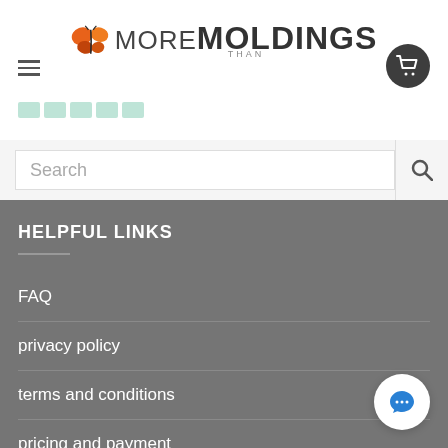[Figure (logo): More Than Moldings website logo with butterfly icon]
[Figure (screenshot): Search bar with magnifying glass icon]
HELPFUL LINKS
FAQ
privacy policy
terms and conditions
pricing and payment
shipping and handling
warranty policy
return policy